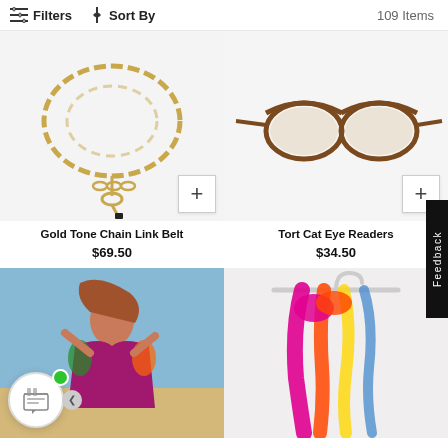Filters  Sort By  109 Items
[Figure (photo): Gold chain link belt on white background]
Gold Tone Chain Link Belt
$69.50
[Figure (photo): Tort Cat Eye Readers product image - partially visible, mostly white background]
Tort Cat Eye Readers
$34.50
[Figure (photo): Woman wearing colorful patterned top with arms raised, outdoors]
[Figure (photo): Colorful floral scarf hanging on a hanger against light background]